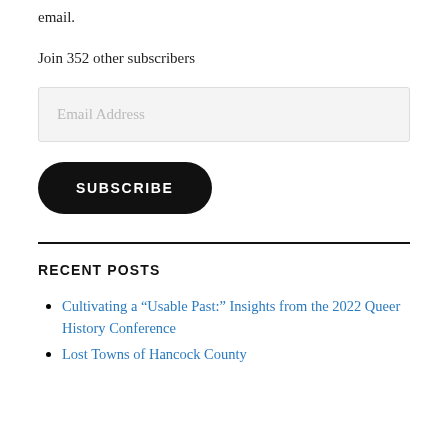email.
Join 352 other subscribers
Email Address
SUBSCRIBE
RECENT POSTS
Cultivating a “Usable Past:” Insights from the 2022 Queer History Conference
Lost Towns of Hancock County